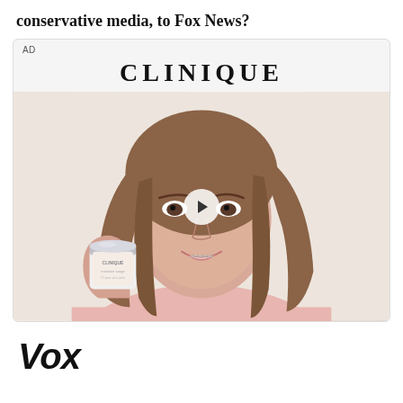conservative media, to Fox News?
[Figure (screenshot): Clinique advertisement showing a woman with long brown hair holding a Clinique skincare product jar, smiling at the camera. The ad has a light pink/beige background. The CLINIQUE logo is displayed at the top. A play button is overlaid in the center indicating it is a video ad. 'AD' label in upper left corner.]
[Figure (logo): Vox media logo in bold italic black font]